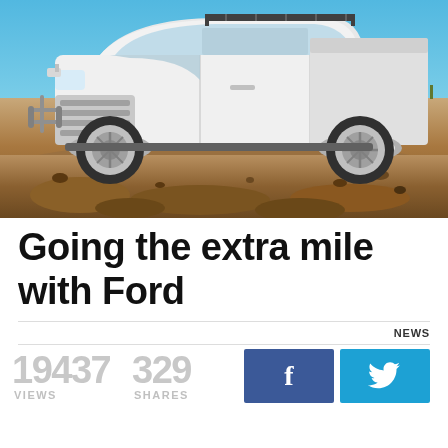[Figure (photo): White Ford Ranger pickup truck with roof rack, parked on rocky terrain/dirt mound against a blue sky background]
Going the extra mile with Ford
NEWS
19437 VIEWS   329 SHARES